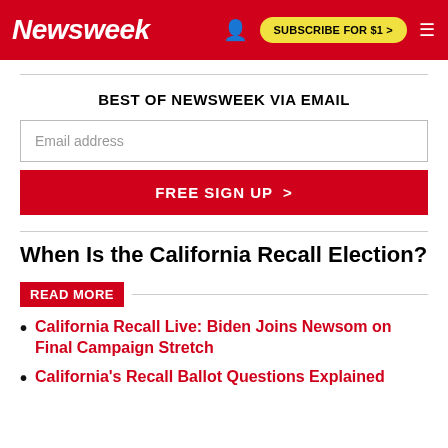Newsweek — SUBSCRIBE FOR $1 >
BEST OF NEWSWEEK VIA EMAIL
Email address
FREE SIGN UP >
When Is the California Recall Election?
READ MORE
California Recall Live: Biden Joins Newsom on Final Campaign Stretch
California's Recall Ballot Questions Explained